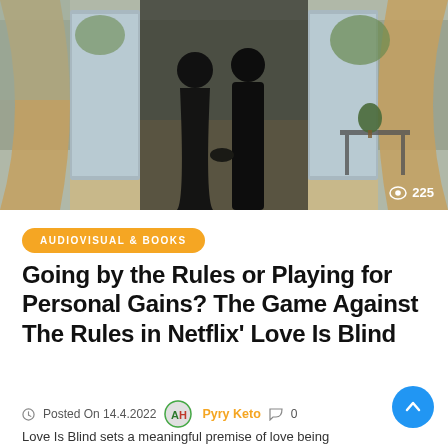[Figure (photo): Silhouette of a couple holding hands walking away from viewer through open barn/venue doors, viewed from behind, countryside background]
AUDIOVISUAL & BOOKS
Going by the Rules or Playing for Personal Gains? The Game Against The Rules in Netflix' Love Is Blind
Posted On 14.4.2022  Pyry Keto  0
Love Is Blind sets a meaningful premise of love being